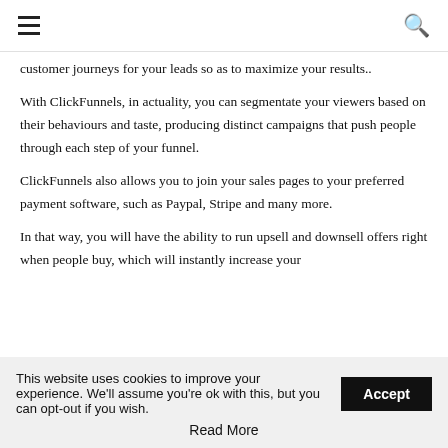≡  🔍
customer journeys for your leads so as to maximize your results..
With ClickFunnels, in actuality, you can segmentate your viewers based on their behaviours and taste, producing distinct campaigns that push people through each step of your funnel.
ClickFunnels also allows you to join your sales pages to your preferred payment software, such as Paypal, Stripe and many more.
In that way, you will have the ability to run upsell and downsell offers right when people buy, which will instantly increase your
This website uses cookies to improve your experience. We'll assume you're ok with this, but you can opt-out if you wish.
Read More